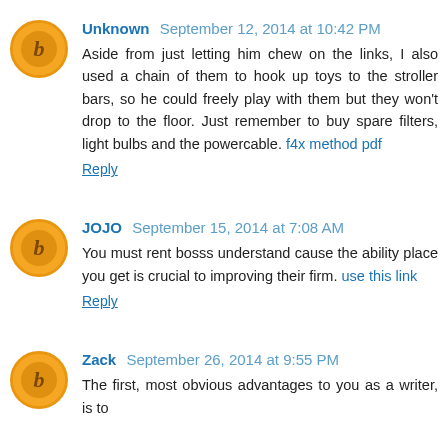Unknown September 12, 2014 at 10:42 PM
Aside from just letting him chew on the links, I also used a chain of them to hook up toys to the stroller bars, so he could freely play with them but they won't drop to the floor. Just remember to buy spare filters, light bulbs and the powercable. f4x method pdf
Reply
JOJO September 15, 2014 at 7:08 AM
You must rent bosss understand cause the ability place you get is crucial to improving their firm. use this link
Reply
Zack September 26, 2014 at 9:55 PM
The first, most obvious advantages to you as a writer, is to